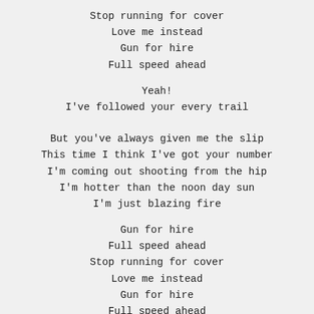Stop running for cover
Love me instead
Gun for hire
Full speed ahead
Yeah!
I've followed your every trail
But you've always given me the slip
This time I think I've got your number
I'm coming out shooting from the hip
I'm hotter than the noon day sun
I'm just blazing fire
Gun for hire
Full speed ahead
Stop running for cover
Love me instead
Gun for hire
Full speed ahead
Gun for hire